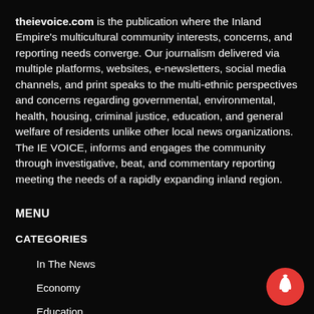theievoice.com is the publication where the Inland Empire's multicultural community interests, concerns, and reporting needs converge. Our journalism delivered via multiple platforms, websites, e-newsletters, social media channels, and print speaks to the multi-ethnic perspectives and concerns regarding governmental, environmental, health, housing, criminal justice, education, and general welfare of residents unlike other local news organizations. The IE VOICE, informs and engages the community through investigative, beat, and commentary reporting meeting the needs of a rapidly expanding inland region.
MENU
CATEGORIES
In The News
Economy
Education